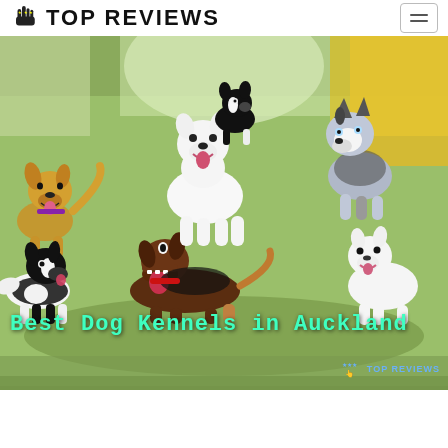TOP REVIEWS
[Figure (photo): Group of dogs including a Border Collie, Dachshund, Samoyed, Husky, and mixed breeds playing together on a green indoor floor. Overlaid text reads 'Best Dog Kennels in Auckland' in cyan/mint handwritten font, with a 'Top Reviews' watermark logo in the bottom right corner.]
Best Dog Kennels in Auckland